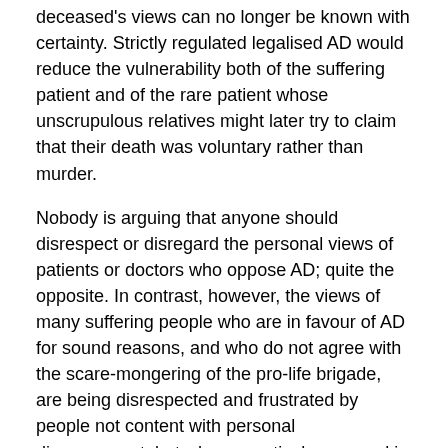deceased's views can no longer be known with certainty. Strictly regulated legalised AD would reduce the vulnerability both of the suffering patient and of the rare patient whose unscrupulous relatives might later try to claim that their death was voluntary rather than murder.
Nobody is arguing that anyone should disrespect or disregard the personal views of patients or doctors who oppose AD; quite the opposite. In contrast, however, the views of many suffering people who are in favour of AD for sound reasons, and who do not agree with the scare-mongering of the pro-life brigade, are being disrespected and frustrated by people not content with personal disagreement, but who are actively engaged in enforcing their (religious) world-view.
In recent times, we have heard that some religious